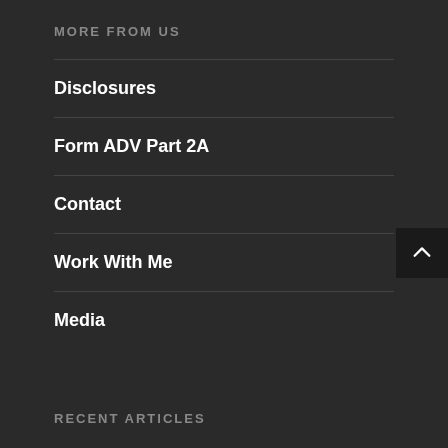MORE FROM US
Disclosures
Form ADV Part 2A
Contact
Work With Me
Media
RECENT ARTICLES